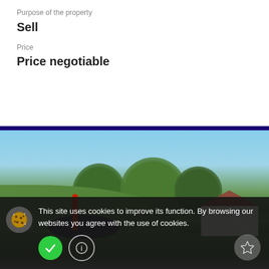Purpose of the property
Sell
Price
Price negotiable
[Figure (photo): Street view photo of a rural property with green hills, large trees, a red curved pipe near a dark pool or tank area, and a white barn/house structure on the right side. A road runs along the bottom.]
This site uses cookies to improve its function. By browsing our websites you agree with the use of cookies.